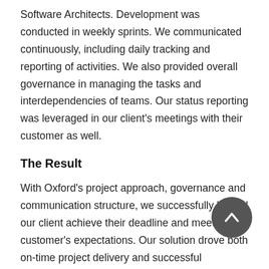Software Architects. Development was conducted in weekly sprints. We communicated continuously, including daily tracking and reporting of activities. We also provided overall governance in managing the tasks and interdependencies of teams. Our status reporting was leveraged in our client's meetings with their customer as well.
The Result
With Oxford's project approach, governance and communication structure, we successfully helped our client achieve their deadline and meet their customer's expectations. Our solution drove both on-time project delivery and successful progression of the project to its next stage. As a result, this placed our client in a positive position to gain a long standing partnership on this area